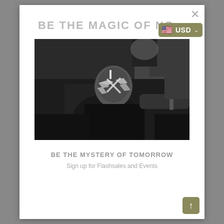BE THE MAGIC OF NO...
[Figure (photo): Black and white photograph of a person with tribal face paint (white geometric markings) bending forward in a crowd setting.]
BE THE MYSTERY OF TOMORROW
Sign up for Flashsales and Events